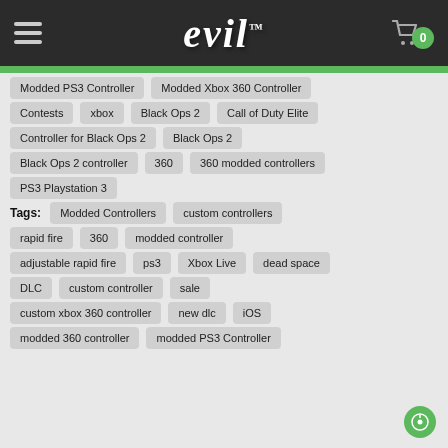evil
Modded PS3 Controller
Modded Xbox 360 Controller
Contests
xbox
Black Ops 2
Call of Duty Elite
Controller for Black Ops 2
Black Ops 2
Black Ops 2 controller
360
360 modded controllers
PS3 Playstation 3
Tags:
Modded Controllers
custom controllers
rapid fire
360
modded controller
adjustable rapid fire
ps3
Xbox Live
dead space
DLC
custom controller
sale
custom xbox 360 controller
new dlc
iOS
modded 360 controller
modded PS3 Controller